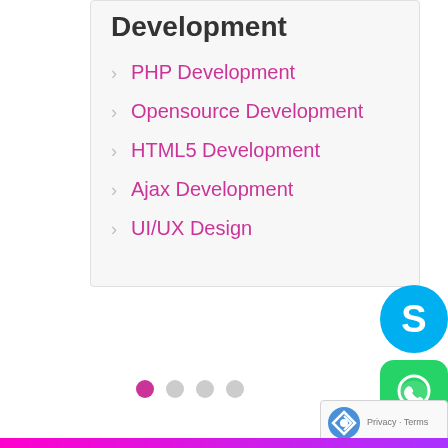Development
PHP Development
Opensource Development
HTML5 Development
Ajax Development
UI/UX Design
[Figure (other): Pagination dots: 4 dots, first one active (pink/magenta), rest grey]
[Figure (logo): Skype icon - blue circle with white S logo]
[Figure (logo): WhatsApp icon - green rounded square with white phone/chat logo]
[Figure (other): reCAPTCHA widget showing logo and Privacy - Terms text]